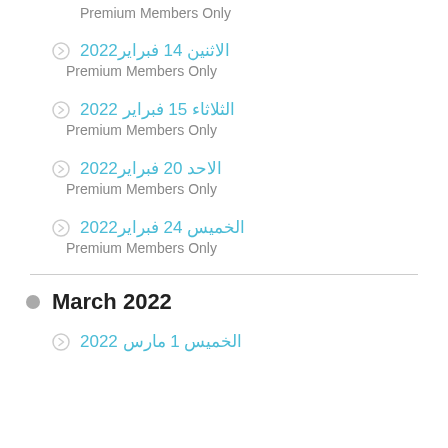Premium Members Only
الاثنين 14 فبراير2022
Premium Members Only
الثلاثاء 15 فبراير 2022
Premium Members Only
الاحد 20 فبراير2022
Premium Members Only
الخميس 24 فبراير2022
Premium Members Only
March 2022
الخميس 1 مارس 2022